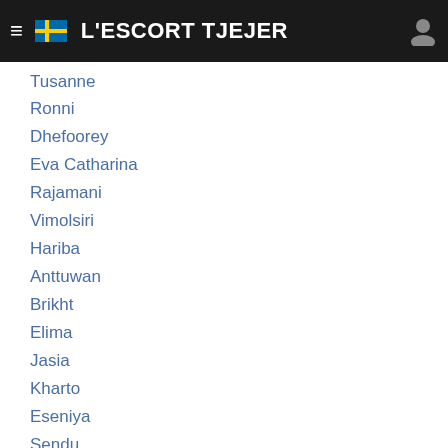L'ESCORT TJEJER
Tusanne
Ronni
Dhefoorey
Eva Catharina
Rajamani
Vimolsiri
Hariba
Anttuwan
Brikht
Elima
Jasia
Kharto
Eseniya
Sendu
Elswieg
Rachdi
Meriroz
Janeit
Ann-Janett
Ghemile
Vera Eugenia